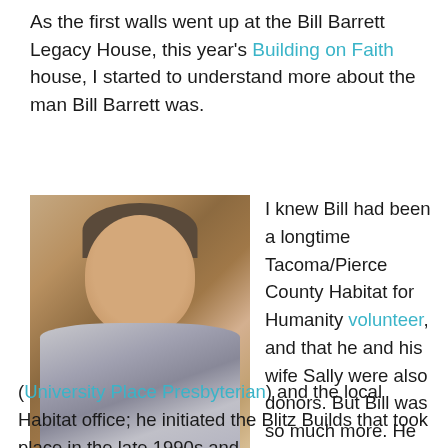As the first walls went up at the Bill Barrett Legacy House, this year's Building on Faith house, I started to understand more about the man Bill Barrett was.
[Figure (photo): Photo of an older smiling man wearing a plaid shirt, seated or standing indoors]
I knew Bill had been a longtime Tacoma/Pierce County Habitat for Humanity volunteer, and that he and his wife Sally were also donors. But Bill was so much more. He was board president at Tacoma Habitat from 1994 to 1997; he was a liaison between his church (University Place Presbyterian) and the local Habitat office; he initiated the Blitz Builds that took place in the late 1990s and